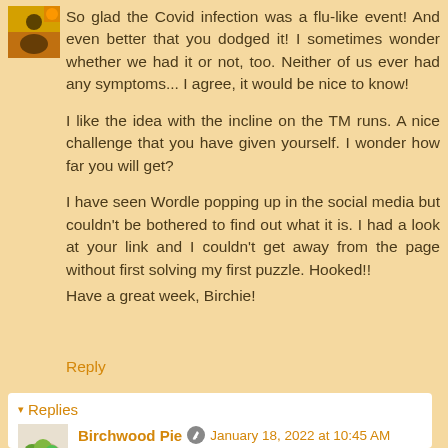[Figure (photo): Small avatar image of a person silhouette at top left of comment]
So glad the Covid infection was a flu-like event! And even better that you dodged it! I sometimes wonder whether we had it or not, too. Neither of us ever had any symptoms... I agree, it would be nice to know!

I like the idea with the incline on the TM runs. A nice challenge that you have given yourself. I wonder how far you will get?

I have seen Wordle popping up in the social media but couldn't be bothered to find out what it is. I had a look at your link and I couldn't get away from the page without first solving my first puzzle. Hooked!!
Have a great week, Birchie!
Reply
▾ Replies
[Figure (photo): Avatar image showing a plate of colorful fruits/vegetables for Birchwood Pie]
Birchwood Pie
January 18, 2022 at 10:45 AM
Oh yes once you've clicked the Wordle link